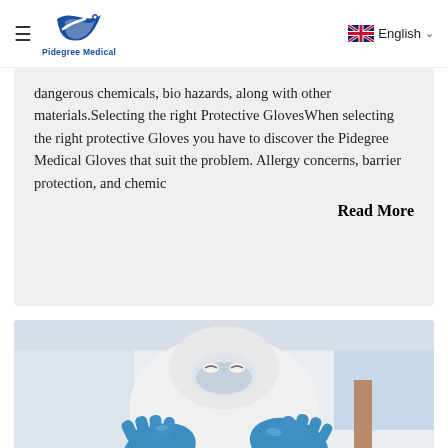Pidegree Medical | English
dangerous chemicals, bio hazards, along with other materials.Selecting the right Protective GlovesWhen selecting the right protective Gloves you have to discover the Pidegree Medical Gloves that suit the problem. Allergy concerns, barrier protection, and chemic
Read More
[Figure (photo): A person in full white protective suit and mask wearing blue gloves in a medical/lab setting]
What's medical gloves